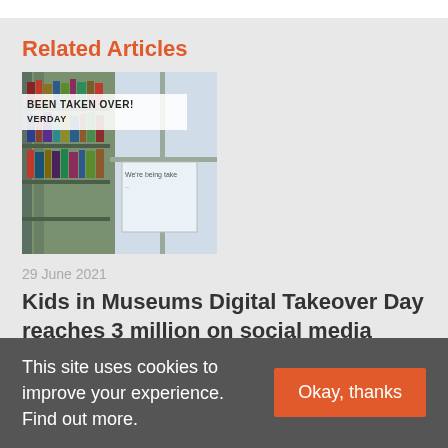Related Articles
[Figure (photo): A photo showing library bookshelves and a window with a poster reading 'We're being take...' and a banner overlay with text 'BEEN TAKEN OVER!' and 'VERDAY']
29 June 2021
Kids in Museums Digital Takeover Day reaches 3 million on social media
This site uses cookies to improve your experience. Find out more.